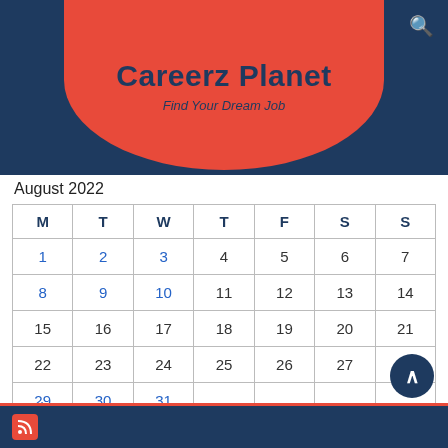[Figure (logo): Careerz Planet logo on red bubble background with dark navy header. Title: 'Careerz Planet', subtitle: 'Find Your Dream Job']
August 2022
| M | T | W | T | F | S | S |
| --- | --- | --- | --- | --- | --- | --- |
| 1 | 2 | 3 | 4 | 5 | 6 | 7 |
| 8 | 9 | 10 | 11 | 12 | 13 | 14 |
| 15 | 16 | 17 | 18 | 19 | 20 | 21 |
| 22 | 23 | 24 | 25 | 26 | 27 | 28 |
| 29 | 30 | 31 |  |  |  |  |
« Jul
[Figure (other): Back to top button (dark navy circle with upward chevron)]
[Figure (other): Footer bar with RSS icon]